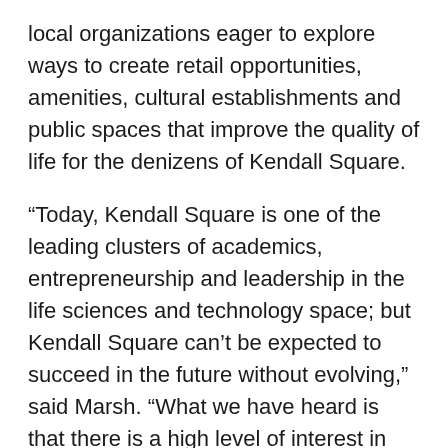local organizations eager to explore ways to create retail opportunities, amenities, cultural establishments and public spaces that improve the quality of life for the denizens of Kendall Square.
“Today, Kendall Square is one of the leading clusters of academics, entrepreneurship and leadership in the life sciences and technology space; but Kendall Square can’t be expected to succeed in the future without evolving,” said Marsh. “What we have heard is that there is a high level of interest in building on what makes Kendall Square great from 9 to 5 to create a real community that is both lively and maintains the region’s competitive edge.”
In addition to creating new spaces for retail